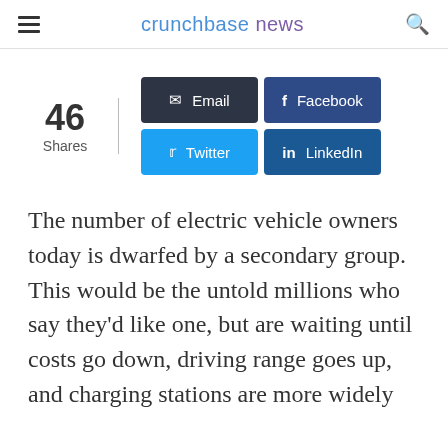crunchbase news
46 Shares
The number of electric vehicle owners today is dwarfed by a secondary group. This would be the untold millions who say they'd like one, but are waiting until costs go down, driving range goes up, and charging stations are more widely